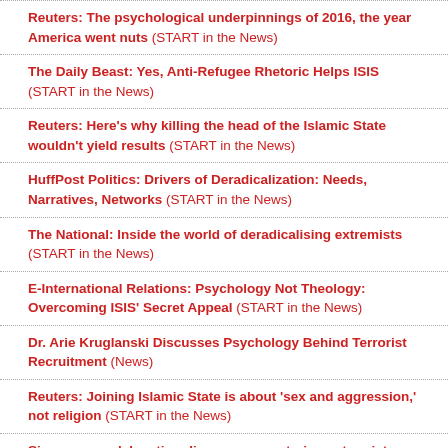Reuters: The psychological underpinnings of 2016, the year America went nuts (START in the News)
The Daily Beast: Yes, Anti-Refugee Rhetoric Helps ISIS (START in the News)
Reuters: Here's why killing the head of the Islamic State wouldn't yield results (START in the News)
HuffPost Politics: Drivers of Deradicalization: Needs, Narratives, Networks (START in the News)
The National: Inside the world of deradicalising extremists (START in the News)
E-International Relations: Psychology Not Theology: Overcoming ISIS' Secret Appeal (START in the News)
Dr. Arie Kruglanski Discusses Psychology Behind Terrorist Recruitment (News)
Reuters: Joining Islamic State is about 'sex and aggression,' not religion (START in the News)
Singaporean delegation discusses countering extremist propaganda with START (News)
START Newsletter: Intelligence and security: perspectives on